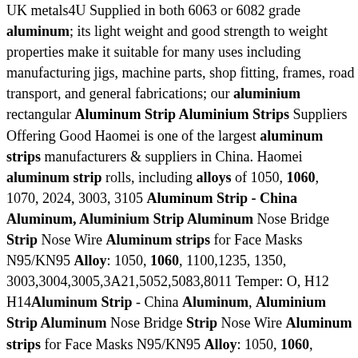UK metals4U Supplied in both 6063 or 6082 grade aluminum; its light weight and good strength to weight properties make it suitable for many uses including manufacturing jigs, machine parts, shop fitting, frames, road transport, and general fabrications; our aluminium rectangular Aluminum Strip Aluminium Strips Suppliers Offering Good Haomei is one of the largest aluminum strips manufacturers & suppliers in China. Haomei aluminum strip rolls, including alloys of 1050, 1060, 1070, 2024, 3003, 3105 Aluminum Strip - China Aluminum, Aluminium Strip Aluminum Nose Bridge Strip Nose Wire Aluminum strips for Face Masks N95/KN95 Alloy: 1050, 1060, 1100,1235, 1350, 3003,3004,3005,3A21,5052,5083,8011 Temper: O, H12 H14Aluminum Strip - China Aluminum, Aluminium Strip Aluminum Nose Bridge Strip Nose Wire Aluminum strips for Face Masks N95/KN95 Alloy: 1050, 1060, 1100,1235, 1350, 3003,3004,3005,3A21,5052,5083,8011 Temper: O, H12 H14Aluminum Strip, Aluminum Strip direct from Hangzhou